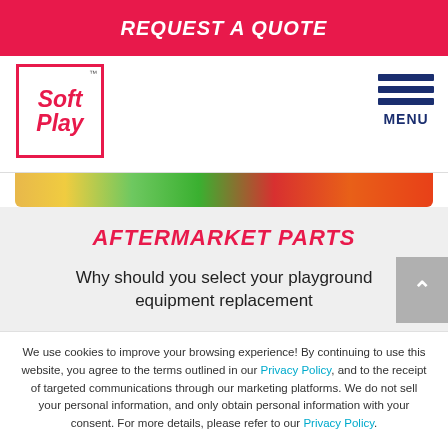REQUEST A QUOTE
[Figure (logo): Soft Play logo — red square border with 'Soft Play' italic text in red]
MENU
[Figure (photo): Colorful plastic playground balls in yellow, green, and red]
AFTERMARKET PARTS
Why should you select your playground equipment replacement
We use cookies to improve your browsing experience! By continuing to use this website, you agree to the terms outlined in our Privacy Policy, and to the receipt of targeted communications through our marketing platforms. We do not sell your personal information, and only obtain personal information with your consent. For more details, please refer to our Privacy Policy.
Yes, I agre
English